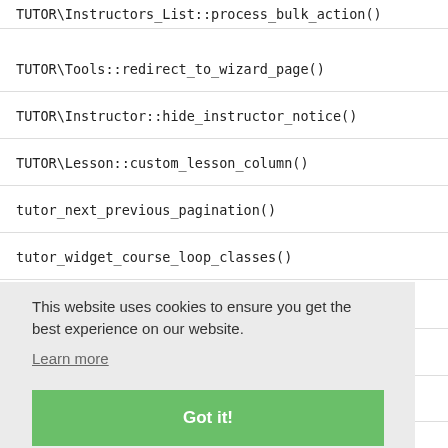TUTOR\Instructors_List::process_bulk_action()
TUTOR\Tools::redirect_to_wizard_page()
TUTOR\Instructor::hide_instructor_notice()
TUTOR\Lesson::custom_lesson_column()
tutor_next_previous_pagination()
tutor_video_input_state()
tutor_widget_course_loop_classes()
This website uses cookies to ensure you get the best experience on our website. Learn more
Tutor\Helpers\QueryHelper::build_where_clause()